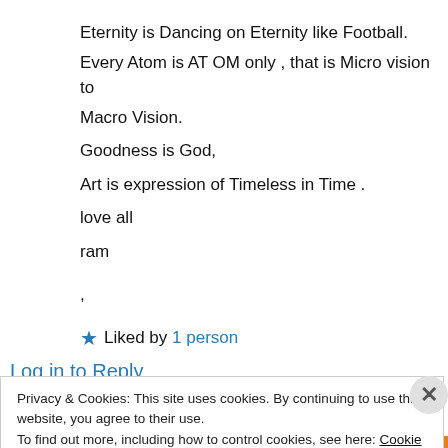Eternity is Dancing on Eternity like Football.
Every Atom is AT OM only , that is Micro vision to Macro Vision.
Goodness is God,
Art is expression of Timeless in Time .
love all
ram
,
★ Liked by 1 person
Log in to Reply
Privacy & Cookies: This site uses cookies. By continuing to use this website, you agree to their use.
To find out more, including how to control cookies, see here: Cookie Policy
Close and accept